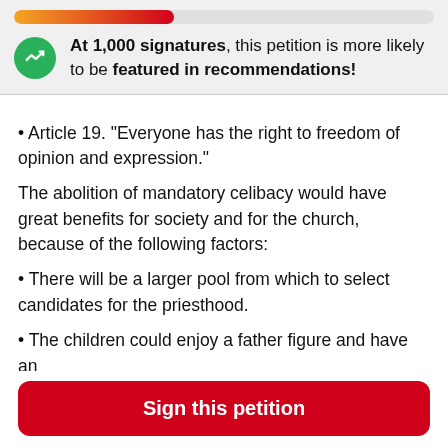At 1,000 signatures, this petition is more likely to be featured in recommendations!
• Article 19. “Everyone has the right to freedom of opinion and expression.”
The abolition of mandatory celibacy would have great benefits for society and for the church, because of the following factors:
• There will be a larger pool from which to select candidates for the priesthood.
• The children could enjoy a father figure and have an
Sign this petition